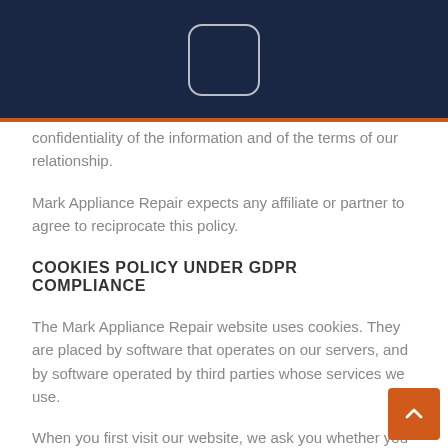confidentiality of the information and of the terms of our relationship.
Mark Appliance Repair expects any affiliate or partner to agree to reciprocate this policy.
COOKIES POLICY UNDER GDPR COMPLIANCE
The Mark Appliance Repair website uses cookies. They are placed by software that operates on our servers, and by software operated by third parties whose services we use.
When you first visit our website, we ask you whether you wish us to use cookies. If you choose not to accept them, we shall not use them for your visit except to record that you have not consented to their use for any other purpose.